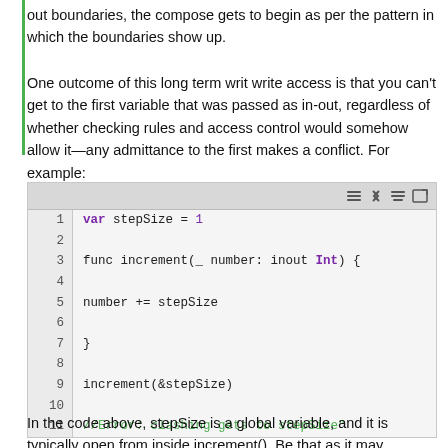out boundaries, the compose gets to begin as per the pattern in which the boundaries show up.
One outcome of this long term writ write access is that you can't get to the first variable that was passed as in-out, regardless of whether checking rules and access control would somehow allow it—any admittance to the first makes a conflict. For example:
[Figure (screenshot): Code block showing Swift code with line numbers 1-11. Lines: 1: var stepSize = 1, 2: (empty), 3: func increment(_ number: inout Int) {, 4: (empty), 5: number += stepSize, 6: (empty), 7: }, 8: (empty), 9: increment(&stepSize), 10: (empty), 11: //Error: clashing gets to stepSize"]
In the code above, stepSize is a global variable, and it is typically open from inside increment(). Be that as it may